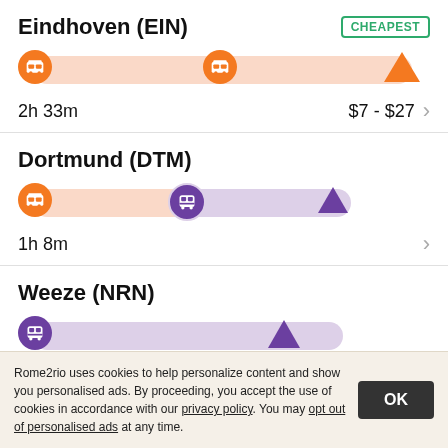Eindhoven (EIN)
[Figure (infographic): Route bar showing two orange bus icons and an orange triangle destination marker on a light orange/peach background bar]
2h 33m    $7 - $27 →
Dortmund (DTM)
[Figure (infographic): Route bar showing orange bus icon, purple train icon, and purple triangle marker. Bar is half orange/half purple.]
1h 8m    →
Weeze (NRN)
[Figure (infographic): Route bar showing purple train icon and purple triangle destination marker on purple background bar]
Rome2rio uses cookies to help personalize content and show you personalised ads. By proceeding, you accept the use of cookies in accordance with our privacy policy. You may opt out of personalised ads at any time.